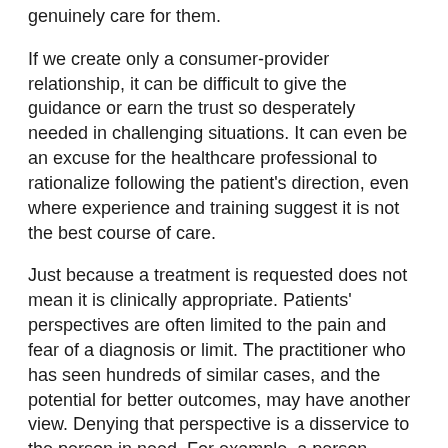genuinely care for them.
If we create only a consumer-provider relationship, it can be difficult to give the guidance or earn the trust so desperately needed in challenging situations. It can even be an excuse for the healthcare professional to rationalize following the patient's direction, even where experience and training suggest it is not the best course of care.
Just because a treatment is requested does not mean it is clinically appropriate. Patients' perspectives are often limited to the pain and fear of a diagnosis or limit. The practitioner who has seen hundreds of similar cases, and the potential for better outcomes, may have another view. Denying that perspective is a disservice to the person in need. For example, a person rendered paraplegic following an accident may think life is no longer worth living, whereas a physician who has treated hundreds similarly can say, “Give us time to show you that life, while different, will still be worthwhile.”
Today, the dominance of consumer-based,